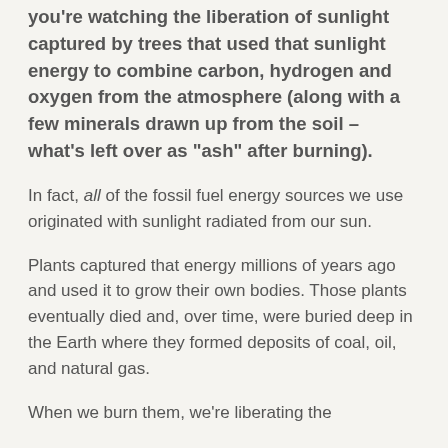you're watching the liberation of sunlight captured by trees that used that sunlight energy to combine carbon, hydrogen and oxygen from the atmosphere (along with a few minerals drawn up from the soil – what's left over as "ash" after burning).
In fact, all of the fossil fuel energy sources we use originated with sunlight radiated from our sun.
Plants captured that energy millions of years ago and used it to grow their own bodies. Those plants eventually died and, over time, were buried deep in the Earth where they formed deposits of coal, oil, and natural gas.
When we burn them, we're liberating the